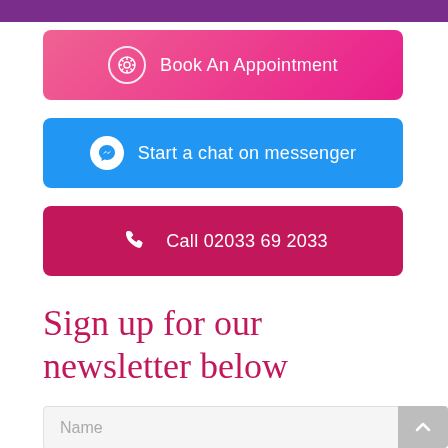[Figure (screenshot): Purple top bar (partially cropped at top)]
Book An Appointment
Start a chat on messenger
Call 02033 69 2033
Sign up for our newsletter below
Name